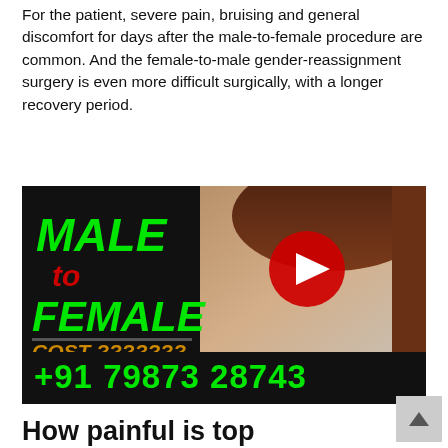For the patient, severe pain, bruising and general discomfort for days after the male-to-female procedure are common. And the female-to-male gender-reassignment surgery is even more difficult surgically, with a longer recovery period.
[Figure (screenshot): YouTube video thumbnail showing 'MALE to FEMALE COST ??????' text overlay on a black background with a woman's face visible, and a YouTube play button in the center. Bottom bar shows phone number +91 79873 28743 in green text.]
How painful is top surgery?